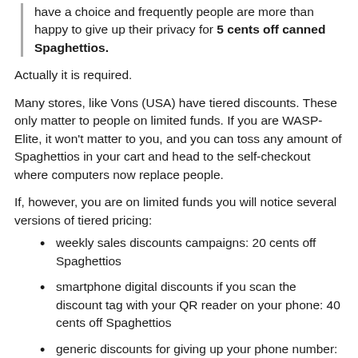have a choice and frequently people are more than happy to give up their privacy for 5 cents off canned Spaghettios.
Actually it is required.
Many stores, like Vons (USA) have tiered discounts. These only matter to people on limited funds. If you are WASP-Elite, it won't matter to you, and you can toss any amount of Spaghettios in your cart and head to the self-checkout where computers now replace people.
If, however, you are on limited funds you will notice several versions of tiered pricing:
weekly sales discounts campaigns: 20 cents off Spaghettios
smartphone digital discounts if you scan the discount tag with your QR reader on your phone: 40 cents off Spaghettios
generic discounts for giving up your phone number: 5% off total price if everything in the cart full of Spaghettios